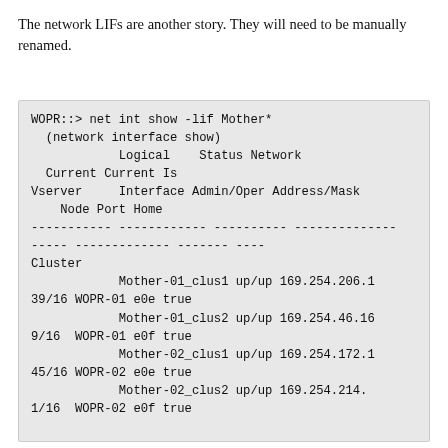The network LIFs are another story.  They will need to be manually renamed.
[Figure (screenshot): Terminal output of ONTAP CLI command 'net int show -lif Mother*' showing network interface details for cluster LIFs Mother-01_clus1, Mother-01_clus2, Mother-02_clus1, Mother-02_clus2 with their status, IP addresses, nodes, ports, and home status.]